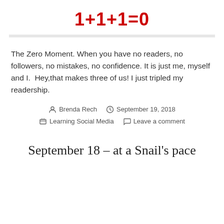1+1+1=0
The Zero Moment. When you have no readers, no followers, no mistakes, no confidence. It is just me, myself and I.  Hey,that makes three of us! I just tripled my readership.
Brenda Rech  September 19, 2018  Learning Social Media  Leave a comment
September 18 – at a Snail's pace